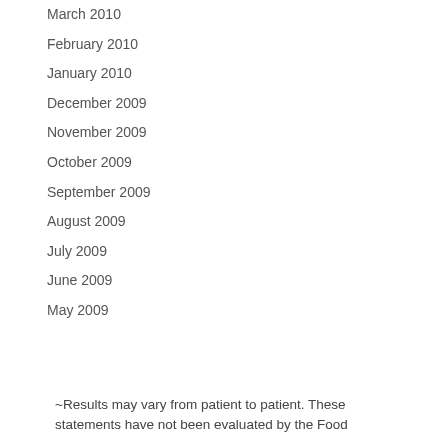March 2010
February 2010
January 2010
December 2009
November 2009
October 2009
September 2009
August 2009
July 2009
June 2009
May 2009
~Results may vary from patient to patient. These statements have not been evaluated by the Food